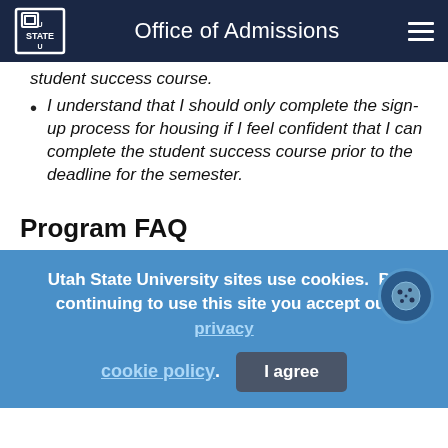Office of Admissions
student success course.
I understand that I should only complete the sign-up process for housing if I feel confident that I can complete the student success course prior to the deadline for the semester.
Program FAQ
Utah State University sites use cookies. By continuing to use this site you accept our privacy cookie policy. I agree